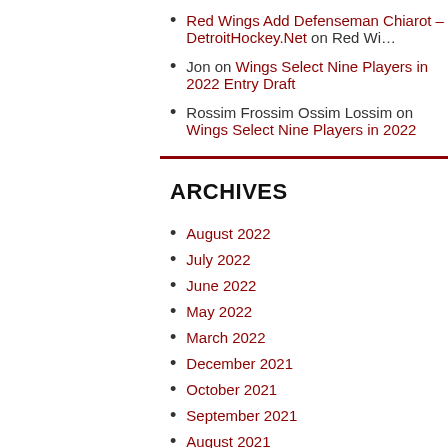Red Wings Add Defenseman Chiarot – DetroitHockey.Net on Red Wi…
Jon on Wings Select Nine Players in 2022 Entry Draft
Rossim Frossim Ossim Lossim on Wings Select Nine Players in 2022
ARCHIVES
August 2022
July 2022
June 2022
May 2022
March 2022
December 2021
October 2021
September 2021
August 2021
July 2021
June 2021
May 2021
April 2021